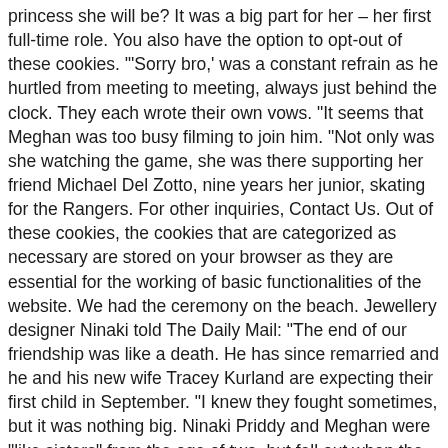princess she will be? It was a big part for her – her first full-time role. You also have the option to opt-out of these cookies. '"Sorry bro,' was a constant refrain as he hurtled from meeting to meeting, always just behind the clock. They each wrote their own vows. "It seems that Meghan was too busy filming to join him. "Not only was she watching the game, she was there supporting her friend Michael Del Zotto, nine years her junior, skating for the Rangers. For other inquiries, Contact Us. Out of these cookies, the cookies that are categorized as necessary are stored on your browser as they are essential for the working of basic functionalities of the website. We had the ceremony on the beach. Jewellery designer Ninaki told The Daily Mail: “The end of our friendship was like a death. He has since remarried and he and his new wife Tracey Kurland are expecting their first child in September. “I knew they fought sometimes, but it was nothing big. Ninaki Priddy and Meghan were “like sisters” from the age of two, but fell out when the Suits star moved to Toronto and split with hubby